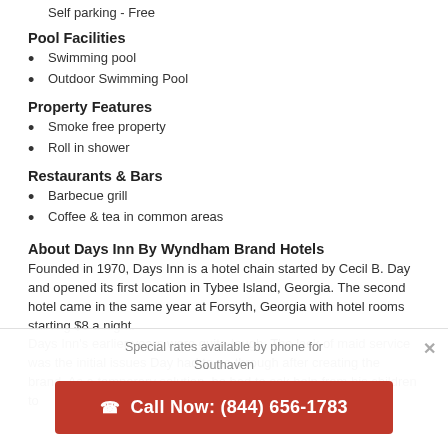Self parking - Free
Pool Facilities
Swimming pool
Outdoor Swimming Pool
Property Features
Smoke free property
Roll in shower
Restaurants & Bars
Barbecue grill
Coffee & tea in common areas
About Days Inn By Wyndham Brand Hotels
Founded in 1970, Days Inn is a hotel chain started by Cecil B. Day and opened its first location in Tybee Island, Georgia. The second hotel came in the same year at Forsyth, Georgia with hotel rooms starting $8 a night.
Days Inn's earlier years were quite tough. The lack of maid service was the initial issues Day had to go through after creating the brand. As a temporary solution, he had to ask help from his children to
Special rates available by phone for Southaven
Call Now: (844) 656-1783